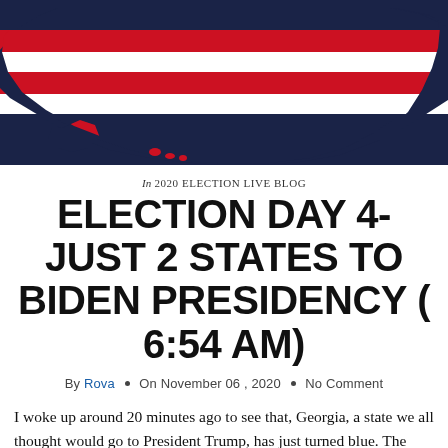[Figure (illustration): US map silhouette with red and white horizontal stripes (American flag style) on dark navy background, showing continental US with Alaska and Hawaii insets]
In 2020 ELECTION LIVE BLOG
ELECTION DAY 4- JUST 2 STATES TO BIDEN PRESIDENCY ( 6:54 AM)
By Rova • On November 06, 2020 • No Comment
I woke up around 20 minutes ago to see that, Georgia, a state we all thought would go to President Trump, has just turned blue. The race is extremely close, as Mr. Biden is leading[….]